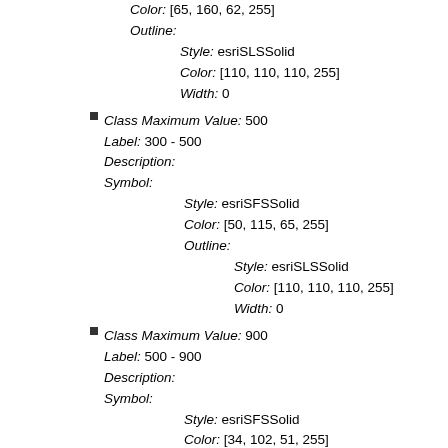Color: [65, 160, 62, 255]
Outline:
  Style: esriSLSSolid
  Color: [110, 110, 110, 255]
  Width: 0
Class Maximum Value: 500
Label: 300 - 500
Description:
Symbol:
  Style: esriSFSSolid
  Color: [50, 115, 65, 255]
  Outline:
    Style: esriSLSSolid
    Color: [110, 110, 110, 255]
    Width: 0
Class Maximum Value: 900
Label: 500 - 900
Description:
Symbol:
  Style: esriSFSSolid
  Color: [34, 102, 51, 255]
  Outline:
    Style: esriSLSSolid
    Color: [110, 110, 110, 255]
    Width: 0
Transparency: 0
Labeling Info: